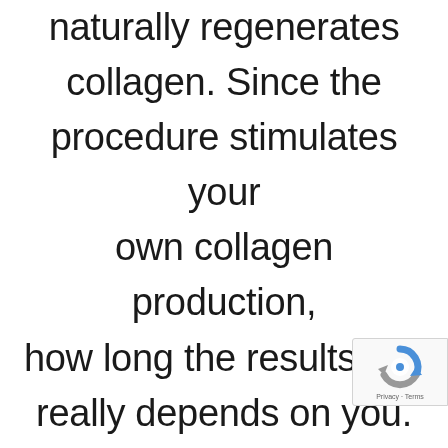naturally regenerates collagen. Since the procedure stimulates your own collagen production, how long the results last really depends on you. The treatment produces new collagen on the inside, but your natural aging process will dictate how long that
[Figure (logo): reCAPTCHA badge with blue/grey circular arrow logo and 'Privacy - Terms' text]